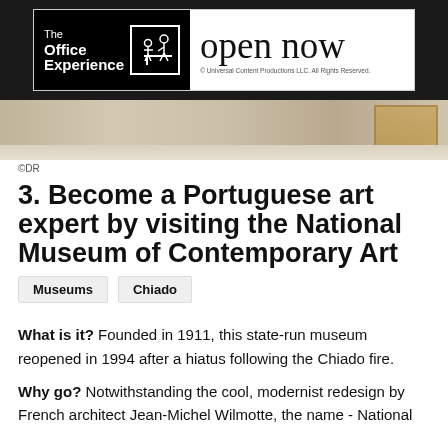[Figure (screenshot): Advertisement banner for 'The Office Experience' with 'open now' text and Universal Content Productions LLC copyright notice]
[Figure (photo): Partial interior photo of a museum gallery with artwork on wall, light-colored flooring]
©DR
3. Become a Portuguese art expert by visiting the National Museum of Contemporary Art
Museums
Chiado
What is it? Founded in 1911, this state-run museum reopened in 1994 after a hiatus following the Chiado fire.
Why go? Notwithstanding the cool, modernist redesign by French architect Jean-Michel Wilmotte, the name - National